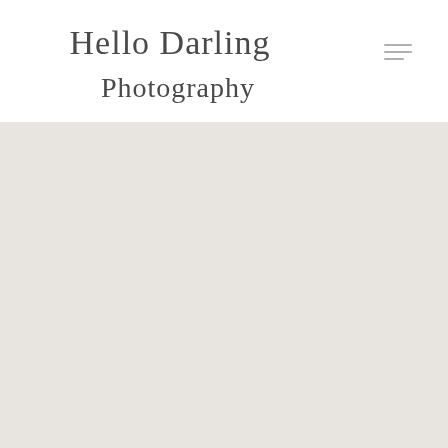[Figure (logo): Hello Darling Photography script logo in handwritten cursive style, dark gray on white background]
[Figure (other): Hamburger menu icon with three horizontal lines in light gray, positioned top right of header]
[Figure (photo): Large light warm gray/beige background area filling the lower three-quarters of the page]